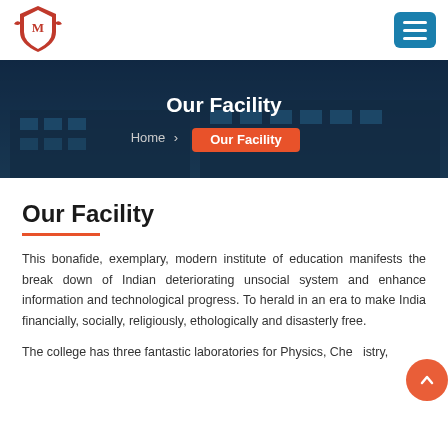[Figure (logo): College logo with red shield/eagle emblem]
[Figure (screenshot): Blue hamburger menu button in top-right corner of navbar]
[Figure (photo): Hero banner showing college building with dark overlay, title 'Our Facility' and breadcrumb navigation]
Our Facility
This bonafide, exemplary, modern institute of education manifests the break down of Indian deteriorating unsocial system and enhance information and technological progress. To herald in an era to make India financially, socially, religiously, ethologically and disasterly free.
The college has three fantastic laboratories for Physics, Chemistry,